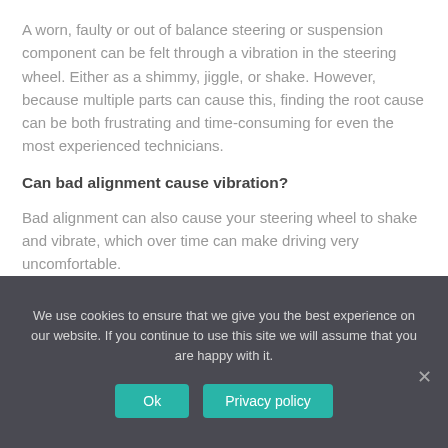A worn, faulty or out of balance steering or suspension component can be felt through a vibration in the steering wheel. Either as a shimmy, jiggle, or shake. However, because multiple parts can cause this, finding the root cause can be both frustrating and time-consuming for even the most experienced technicians.
Can bad alignment cause vibration?
Bad alignment can also cause your steering wheel to shake and vibrate, which over time can make driving very uncomfortable.
We use cookies to ensure that we give you the best experience on our website. If you continue to use this site we will assume that you are happy with it.